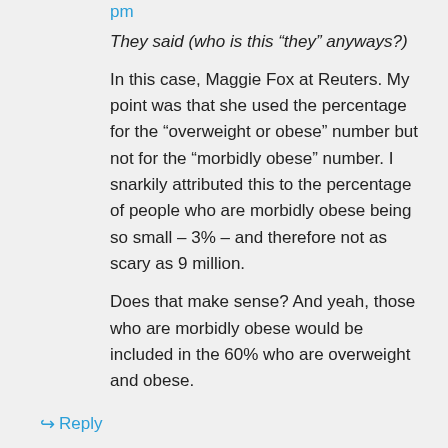pm
They said (who is this “they” anyways?)
In this case, Maggie Fox at Reuters. My point was that she used the percentage for the “overweight or obese” number but not for the “morbidly obese” number. I snarkily attributed this to the percentage of people who are morbidly obese being so small – 3% – and therefore not as scary as 9 million.
Does that make sense? And yeah, those who are morbidly obese would be included in the 60% who are overweight and obese.
↪ Reply